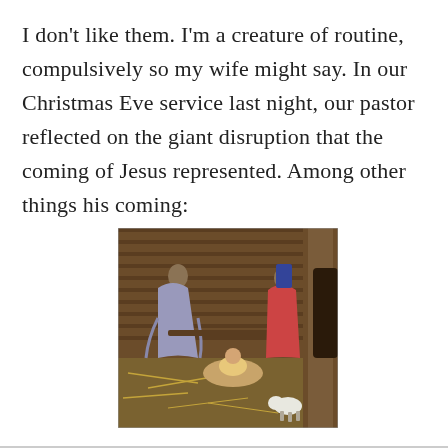I don't like them. I'm a creature of routine, compulsively so my wife might say. In our Christmas Eve service last night, our pastor reflected on the giant disruption that the coming of Jesus represented. Among other things his coming:
[Figure (photo): A nativity scene showing figurines of Joseph kneeling on the left, baby Jesus in a manger in the center, Mary on the right, and a small lamb figurine in the foreground, with a rustic wooden barn backdrop and straw on the ground.]